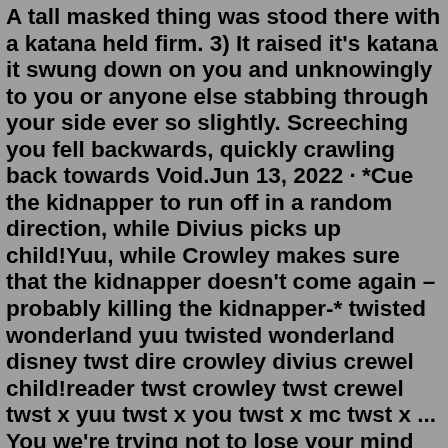A tall masked thing was stood there with a katana held firm. 3) It raised it's katana it swung down on you and unknowingly to you or anyone else stabbing through your side ever so slightly. Screeching you fell backwards, quickly crawling back towards Void.Jun 13, 2022 · *Cue the kidnapper to run off in a random direction, while Divius picks up child!Yuu, while Crowley makes sure that the kidnapper doesn't come again – probably killing the kidnapper-* twisted wonderland yuu twisted wonderland disney twst dire crowley divius crewel child!reader twst crowley twst crewel twst x yuu twst x you twst x mc twst x ... You we're trying not to lose your mind as you we're being held captive by this man. But something about him made you... slightly drawn to him, like a moth to a flame. He was holding your wrists above your head as he straddled your hips. You eventually gave up due to exhaustion. "What do you want from me?!" You managed to choke out from your cries.Pour télécharger le mp3 de Female Creepypasta X Male Reader, il suffit de suivre Female Creepypasta X Male